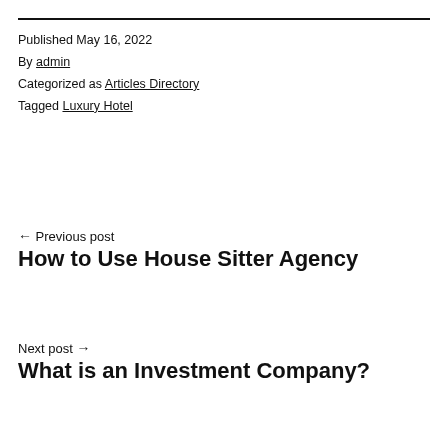Published May 16, 2022
By admin
Categorized as Articles Directory
Tagged Luxury Hotel
← Previous post
How to Use House Sitter Agency
Next post →
What is an Investment Company?